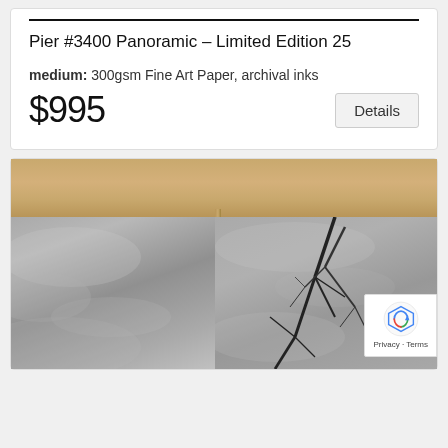Pier #3400 Panoramic – Limited Edition 25
medium: 300gsm Fine Art Paper, archival inks
$995
[Figure (photo): Two framed photographic panels showing overcast grey cloudy sky. Left panel is all sky, right panel includes bare winter tree branches against the grey sky. Both panels have a light wooden/beige frame surround.]
Privacy · Terms